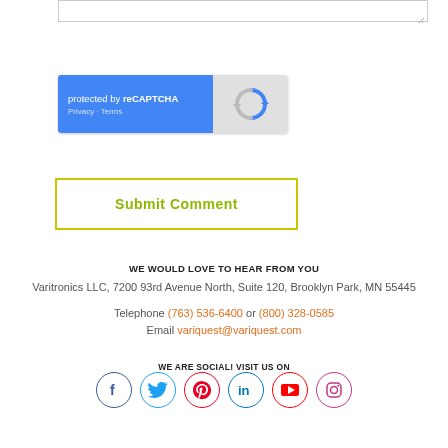[Figure (screenshot): reCAPTCHA widget showing 'protected by reCAPTCHA' on blue background with Google reCAPTCHA logo on grey background, Privacy and Terms links]
Submit Comment
WE WOULD LOVE TO HEAR FROM YOU
Varitronics LLC, 7200 93rd Avenue North, Suite 120, Brooklyn Park, MN 55445
Telephone (763) 536-6400 or (800) 328-0585
Email variquest@variquest.com
WE ARE SOCIAL! VISIT US ON
[Figure (illustration): Social media icons in circles: Facebook (blue), Twitter (cyan), Pinterest (red), LinkedIn (cyan/blue), YouTube (red), Instagram (pink/purple)]